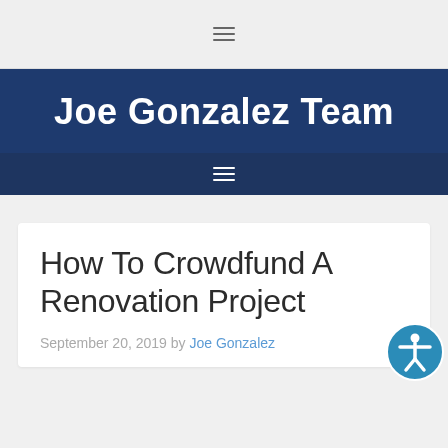≡ (menu icon)
Joe Gonzalez Team
≡ (navigation menu icon)
How To Crowdfund A Renovation Project
September 20, 2019 by Joe Gonzalez